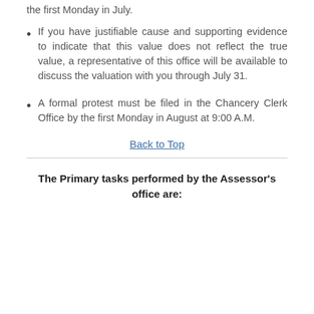the first Monday in July.
If you have justifiable cause and supporting evidence to indicate that this value does not reflect the true value, a representative of this office will be available to discuss the valuation with you through July 31.
A formal protest must be filed in the Chancery Clerk Office by the first Monday in August at 9:00 A.M.
Back to Top
The Primary tasks performed by the Assessor's office are: